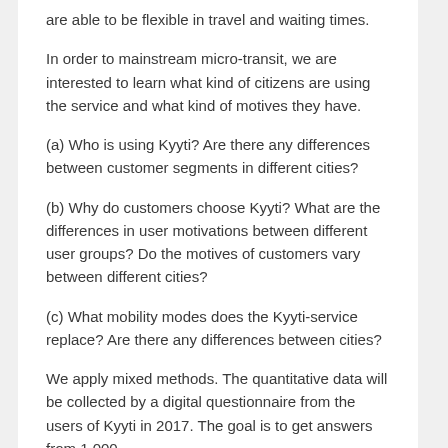are able to be flexible in travel and waiting times.
In order to mainstream micro-transit, we are interested to learn what kind of citizens are using the service and what kind of motives they have.
(a) Who is using Kyyti? Are there any differences between customer segments in different cities?
(b) Why do customers choose Kyyti? What are the differences in user motivations between different user groups? Do the motives of customers vary between different cities?
(c) What mobility modes does the Kyyti-service replace? Are there any differences between cities?
We apply mixed methods. The quantitative data will be collected by a digital questionnaire from the users of Kyyti in 2017. The goal is to get answers from 1 000